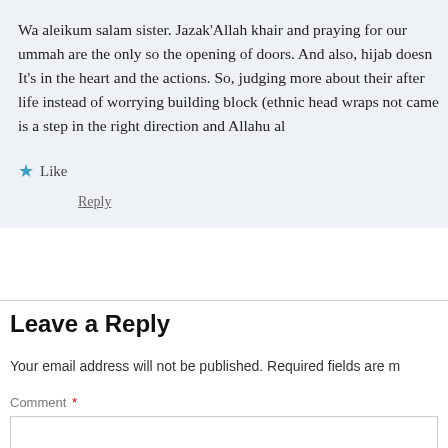Wa aleikum salam sister. Jazak'Allah khair and praying for our ummah are the only so the opening of doors. And also, hijab doesn It's in the heart and the actions. So, judging more about their after life instead of worrying building block (ethnic head wraps not came is a step in the right direction and Allahu al
★ Like
Reply
Leave a Reply
Your email address will not be published. Required fields are m
Comment *